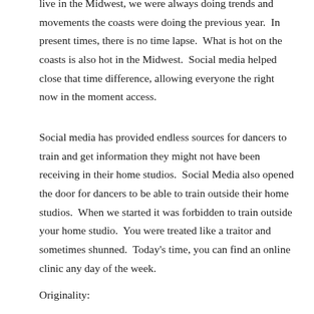live in the Midwest, we were always doing trends and movements the coasts were doing the previous year.  In present times, there is no time lapse.  What is hot on the coasts is also hot in the Midwest.  Social media helped close that time difference, allowing everyone the right now in the moment access.
Social media has provided endless sources for dancers to train and get information they might not have been receiving in their home studios.  Social Media also opened the door for dancers to be able to train outside their home studios.  When we started it was forbidden to train outside your home studio.  You were treated like a traitor and sometimes shunned.  Today's time, you can find an online clinic any day of the week.
Originality: